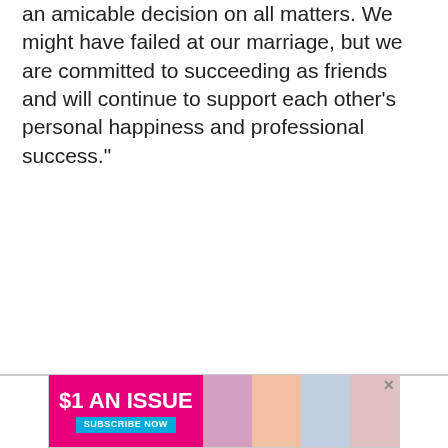an amicable decision on all matters. We might have failed at our marriage, but we are committed to succeeding as friends and will continue to support each other's personal happiness and professional success."
[Figure (other): Advertisement banner for a magazine subscription: '$1 AN ISSUE' in pink background with 'SUBSCRIBE NOW' button in blue, alongside magazine cover images.]